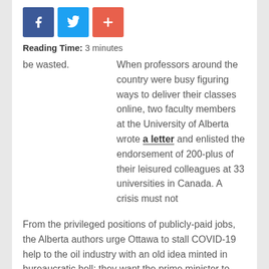[Figure (other): Social sharing buttons: Facebook (blue), Twitter (light blue), and a red plus/share button]
Reading Time: 3 minutes
When professors around the country were busy figuring ways to deliver their classes online, two faculty members at the University of Alberta wrote a letter and enlisted the endorsement of 200-plus of their leisured colleagues at 33 universities in Canada. A crisis must not be wasted.
From the privileged positions of publicly-paid jobs, the Alberta authors urge Ottawa to stall COVID-19 help to the oil industry with an old idea minted in bureaucratic hell: they want the prime minister to start a new cycle